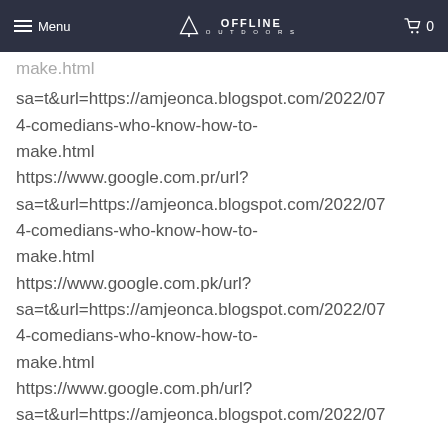Menu | OFFLINE OUTDOORS | 0
make.html
sa=t&url=https://amjeonca.blogspot.com/2022/07
4-comedians-who-know-how-to-
make.html
https://www.google.com.pr/url?
sa=t&url=https://amjeonca.blogspot.com/2022/07
4-comedians-who-know-how-to-
make.html
https://www.google.com.pk/url?
sa=t&url=https://amjeonca.blogspot.com/2022/07
4-comedians-who-know-how-to-
make.html
https://www.google.com.ph/url?
sa=t&url=https://amjeonca.blogspot.com/2022/07